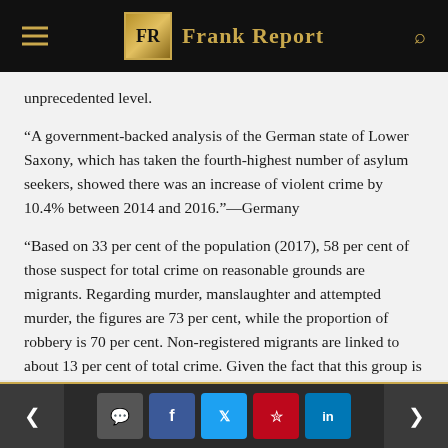Frank Report
unprecedented level.
“A government-backed analysis of the German state of Lower Saxony, which has taken the fourth-highest number of asylum seekers, showed there was an increase of violent crime by 10.4% between 2014 and 2016.”—Germany
“Based on 33 per cent of the population (2017), 58 per cent of those suspect for total crime on reasonable grounds are migrants. Regarding murder, manslaughter and attempted murder, the figures are 73 per cent, while the proportion of robbery is 70 per cent. Non-registered migrants are linked to about 13 per cent of total crime. Given the fact that this group is small
< [comment] [f] [twitter] [pinterest] [in] >